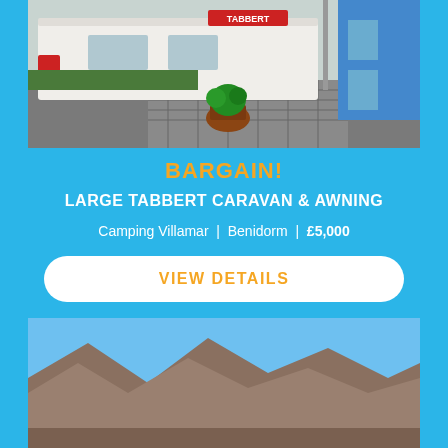[Figure (photo): Photo of a white Tabbert caravan parked on a paved street with a potted plant and building visible]
BARGAIN!
LARGE TABBERT CARAVAN & AWNING
Camping Villamar | Benidorm | £5,000
VIEW DETAILS
[Figure (photo): Photo of a mountainous landscape under a clear blue sky]